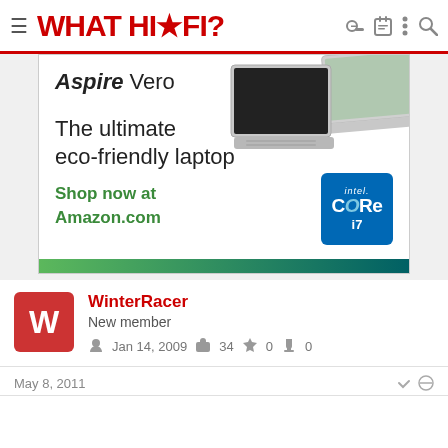WHAT HI-FI?
[Figure (advertisement): Acer Aspire Vero laptop advertisement. Text: 'Aspire Vero - The ultimate eco-friendly laptop. Shop now at Amazon.com'. Intel Core i7 badge shown. Two laptops shown on right side.]
WinterRacer
New member
Jan 14, 2009  34  0  0
May 8, 2011